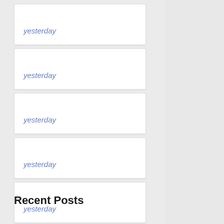yesterday
yesterday
yesterday
yesterday
yesterday
Recent Posts